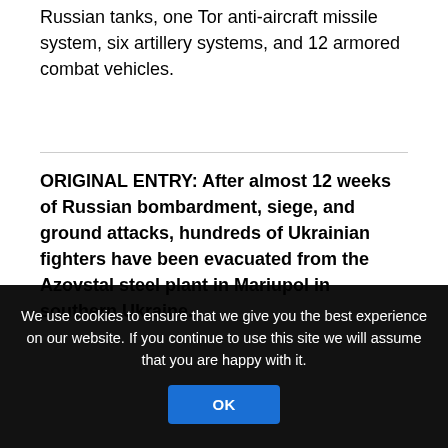Russian tanks, one Tor anti-aircraft missile system, six artillery systems, and 12 armored combat vehicles.
ORIGINAL ENTRY: After almost 12 weeks of Russian bombardment, siege, and ground attacks, hundreds of Ukrainian fighters have been evacuated from the Azovstal steel plant in Mariupol in southern Ukraine.
More than 260 defenders, many of them wounded, were moved after protracted negotiations. Ukraine Deputy Defense Minister Hanna Maliar said 53 seriously-wounded soldiers were taken to a
We use cookies to ensure that we give you the best experience on our website. If you continue to use this site we will assume that you are happy with it.